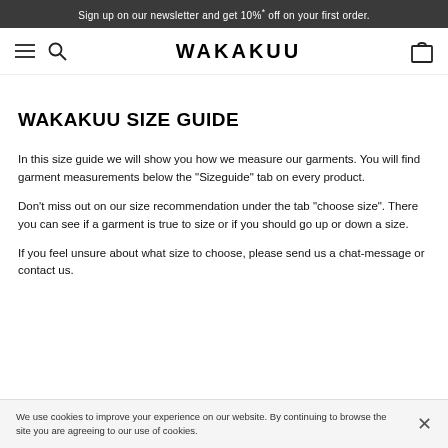Sign up on our newsletter and get 10%* off on your first order.
[Figure (logo): WAKAKUU logo with hamburger menu, search icon, and shopping bag icon in navigation bar]
WAKAKUU SIZE GUIDE
In this size guide we will show you how we measure our garments. You will find garment measurements below the "Sizeguide" tab on every product.
Don't miss out on our size recommendation under the tab "choose size". There you can see if a garment is true to size or if you should go up or down a size.
If you feel unsure about what size to choose, please send us a chat-message or contact us.
We use cookies to improve your experience on our website. By continuing to browse the site you are agreeing to our use of cookies.